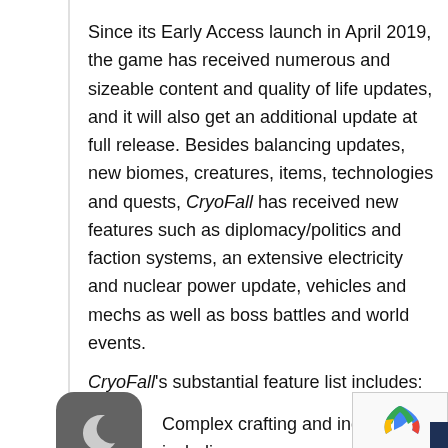Since its Early Access launch in April 2019, the game has received numerous and sizeable content and quality of life updates, and it will also get an additional update at full release. Besides balancing updates, new biomes, creatures, items, technologies and quests, CryoFall has received new features such as diplomacy/politics and faction systems, an extensive electricity and nuclear power update, vehicles and mechs as well as boss battles and world events.
CryoFall's substantial feature list includes:
Complex crafting and industry, including ore refining & lith...
Technology m... ages!